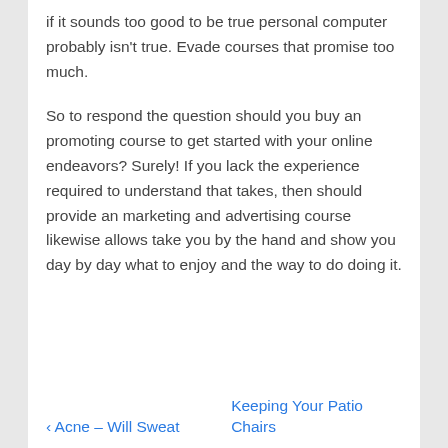if it sounds too good to be true personal computer probably isn't true. Evade courses that promise too much.
So to respond the question should you buy an promoting course to get started with your online endeavors? Surely! If you lack the experience required to understand that takes, then should provide an marketing and advertising course likewise allows take you by the hand and show you day by day what to enjoy and the way to do doing it.
‹ Acne – Will Sweat
Keeping Your Patio Chairs